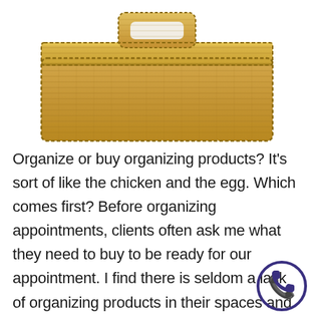[Figure (photo): A woven wicker or seagrass storage basket with lid, photographed from above on a white background. The basket is rectangular with a tightly woven tan/golden texture.]
Organize or buy organizing products? It's sort of like the chicken and the egg. Which comes first? Before organizing appointments, clients often ask me what they need to buy to be ready for our appointment. I find there is seldom a lack of organizing products in their spaces and because we won't know what we'll need until we're done organizing, there is no point shopping up front.
[Figure (illustration): A dark navy/purple circular phone call icon with a telephone handset symbol inside.]